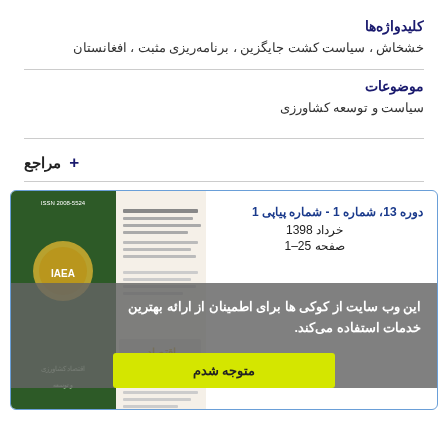کلیدواژه‌ها
خشخاش ،  سیاست کشت جایگزین ،  برنامه‌ریزی مثبت ،  افغانستان
موضوعات
سیاست و توسعه کشاورزی
+ مراجع
دوره 13، شماره 1 - شماره پیاپی 1
خرداد 1398
صفحه 25–1
این وب سایت از کوکی ها برای اطمینان از ارائه بهترین خدمات استفاده می‌کند.
متوجه شدم